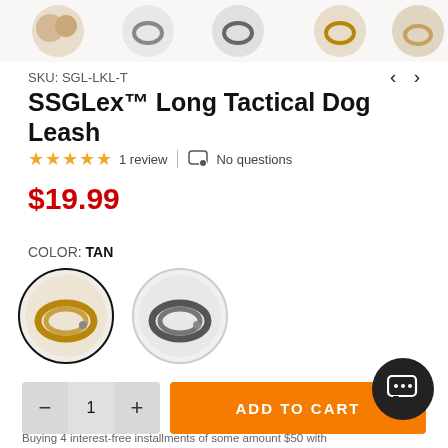[Figure (photo): Row of product thumbnail images showing different dog leash colors — tan and gray variants in circular frames at top of page]
SKU: SGL-LKL-T
SSGLex™ Long Tactical Dog Leash
★★★★★ 1 review | No questions
$19.99
COLOR: TAN
[Figure (photo): Two circular color swatches: left = tan/gold leash (selected, black border), right = gray/black leash (unselected, light border)]
ADD TO CART
Buying 4 interest-free installments of some amount $50 with